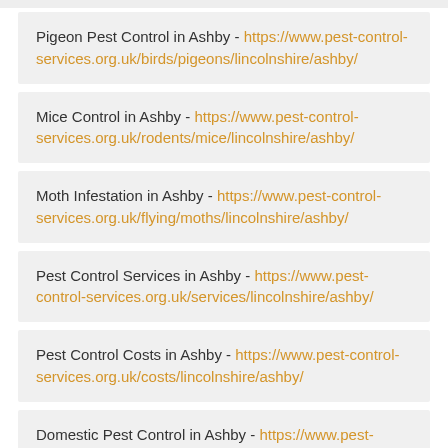Pigeon Pest Control in Ashby - https://www.pest-control-services.org.uk/birds/pigeons/lincolnshire/ashby/
Mice Control in Ashby - https://www.pest-control-services.org.uk/rodents/mice/lincolnshire/ashby/
Moth Infestation in Ashby - https://www.pest-control-services.org.uk/flying/moths/lincolnshire/ashby/
Pest Control Services in Ashby - https://www.pest-control-services.org.uk/services/lincolnshire/ashby/
Pest Control Costs in Ashby - https://www.pest-control-services.org.uk/costs/lincolnshire/ashby/
Domestic Pest Control in Ashby - https://www.pest-control-services.org.uk/domestic/lincolnshire/ashby/